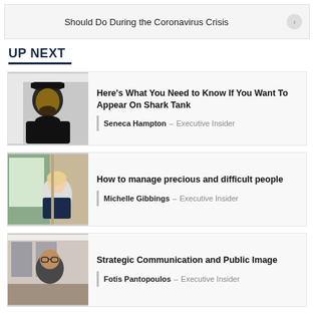Should Do During the Coronavirus Crisis
UP NEXT
[Figure (photo): Portrait photo of Seneca Hampton wearing black cap and black shirt]
Here's What You Need to Know If You Want To Appear On Shark Tank
Seneca Hampton - Executive Insider
[Figure (photo): Photo of Michelle Gibbings, a woman with light hair in a light-colored top, indoor background]
How to manage precious and difficult people
Michelle Gibbings - Executive Insider
[Figure (photo): Photo of Fotis Pantopoulos, a man with glasses seated at a desk with monitors]
Strategic Communication and Public Image
Fotis Pantopoulos - Executive Insider